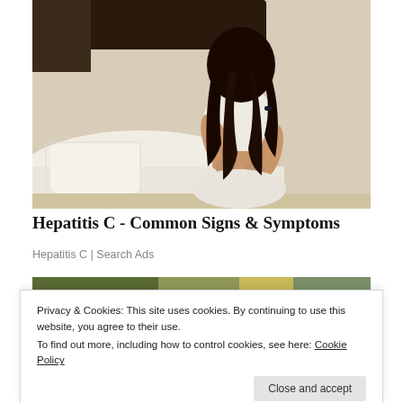[Figure (photo): A woman with long dark hair, wearing a white top and white pants, sitting on a white bed and holding her lower back, viewed from behind, set in a light-colored room with a dark headboard.]
Hepatitis C - Common Signs & Symptoms
Hepatitis C | Search Ads
[Figure (photo): Partial view of a photo strip showing outdoor/nature imagery, partially obscured by cookie notice overlay.]
Privacy & Cookies: This site uses cookies. By continuing to use this website, you agree to their use.
To find out more, including how to control cookies, see here: Cookie Policy
Close and accept